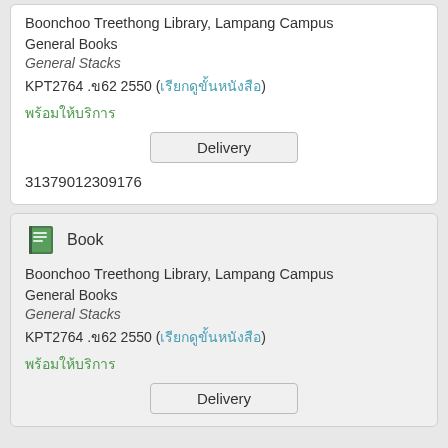Boonchoo Treethong Library, Lampang Campus
General Books
General Stacks
KPT2764 .ข62 2550 (เรียกดูขั้นหนังสือ)
พร้อมให้บริการ
Delivery
31379012309176
Book
Boonchoo Treethong Library, Lampang Campus
General Books
General Stacks
KPT2764 .ข62 2550 (เรียกดูขั้นหนังสือ)
พร้อมให้บริการ
Delivery